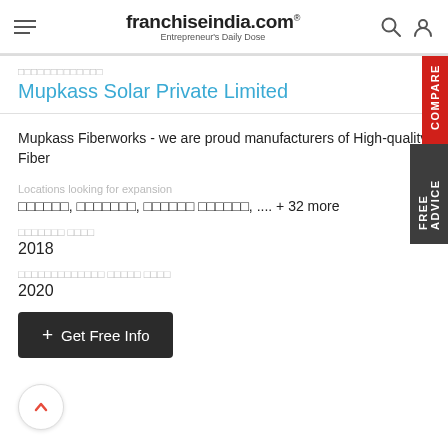franchiseindia.com® — Entrepreneur's Daily Dose
□□□□□□□□□□□□□
Mupkass Solar Private Limited
Mupkass Fiberworks - we are proud manufacturers of High-quality Fiber
Locations looking for expansion
□□□□□□, □□□□□□□, □□□□□□ □□□□□□, .... + 32 more
□□□□□□□ □□□□
2018
□□□□□□□□□□□□□ □□□□□ □□□□
2020
+ Get Free Info